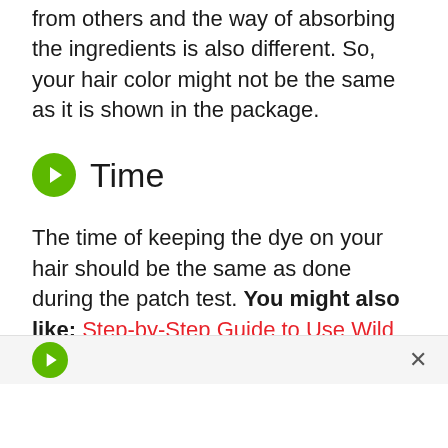from others and the way of absorbing the ingredients is also different. So, your hair color might not be the same as it is shown in the package.
Time
The time of keeping the dye on your hair should be the same as done during the patch test. You might also like: Step-by-Step Guide to Use Wild Growth Hair Oil for Healthy Hair